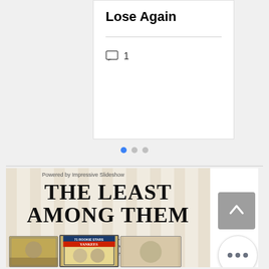Lose Again
1 comment
[Figure (illustration): Book cover for 'The Least Among Them' - 29 Players, Their Brief Moments in the Big Leagues, and A Unique History of the New York Yankees. Shows vintage baseball cards with Yankees players at the bottom. Overlaid with text 'Powered by Impressive Slideshow'.]